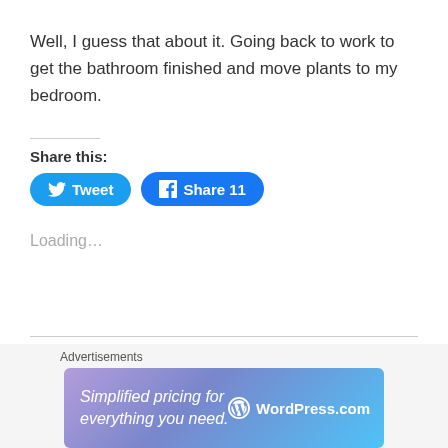Well, I guess that about it. Going back to work to get the bathroom finished and move plants to my bedroom.
Share this:
Tweet
Share 11
Loading...
Social Distancing (quarantine)':
Advertisements
Simplified pricing for everything you need. WordPress.com